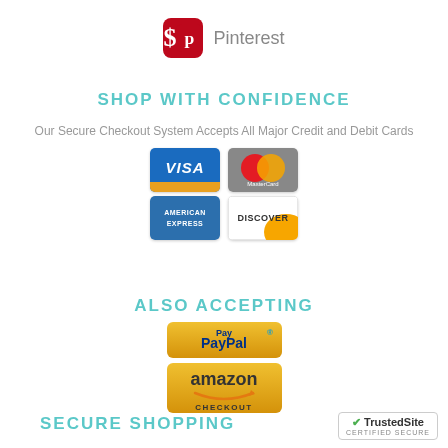[Figure (logo): Pinterest logo icon (red rounded square with white P) and text 'Pinterest']
SHOP WITH CONFIDENCE
Our Secure Checkout System Accepts All Major Credit and Debit Cards
[Figure (infographic): Four credit card logos: Visa, MasterCard, American Express, Discover]
ALSO ACCEPTING
[Figure (infographic): PayPal and Amazon Checkout payment logos]
SECURE SHOPPING
[Figure (logo): TrustedSite Certified Secure badge]